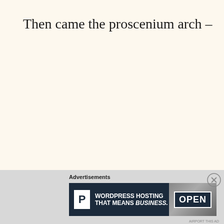Then came the proscenium arch –
Advertisements
[Figure (other): Advertisement banner: Pressable WordPress Hosting. Text reads 'WORDPRESS HOSTING THAT MEANS BUSINESS.' with a P logo on the left and an OPEN sign photo on the right.]